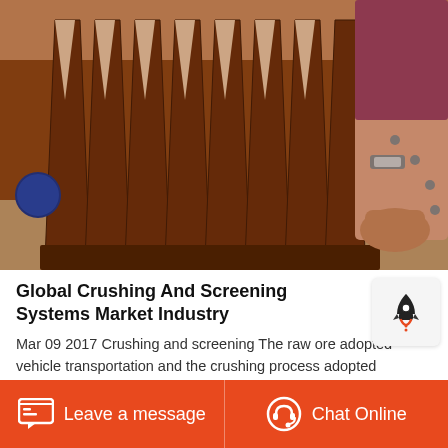[Figure (photo): Close-up photo of industrial crushing/screening equipment showing rows of brown/rust-colored metal teeth or screens, with a person's hand visible adjusting the equipment.]
Global Crushing And Screening Systems Market Industry
Mar 09 2017 Crushing and screening The raw ore adopted vehicle transportation and the crushing process adopted twostage oneclosed circuit process Grinding and classification The qualified crushing product
Leave a message   Chat Online